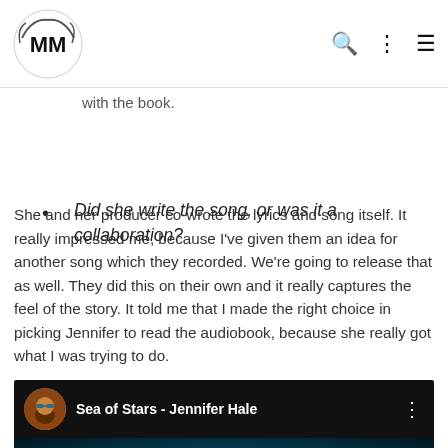ModernMythic logo and navigation
with the book.
Did she write the song, or was it a collaboration?
She and her producer co-wrote the lyrics and song itself. It really impressed me, because I've given them an idea for another song which they recorded. We're going to release that as well. They did this on their own and it really captures the feel of the story. It told me that I made the right choice in picking Jennifer to read the audiobook, because she really got what I was trying to do.
[Figure (screenshot): YouTube video thumbnail showing 'Sea of Stars - Jennifer Hale' with a dark space/ocean background and teal glow]